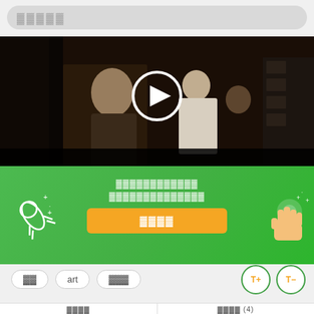[Figure (screenshot): Search bar at top with placeholder text (squares/redacted)]
[Figure (screenshot): Video player showing a classical painting (Las Meninas style) with a play button overlay]
▓▓▓▓▓▓▓▓▓▓▓▓ ▓▓▓▓▓▓▓▓▓▓▓▓▓▓
[Figure (screenshot): Green promotional banner with orange CTA button (▓▓▓▓), rocket icon on left, glowing hand icon on right]
▓▓
art
▓▓▓
▓▓▓▓ | ▓▓▓▓ (4)